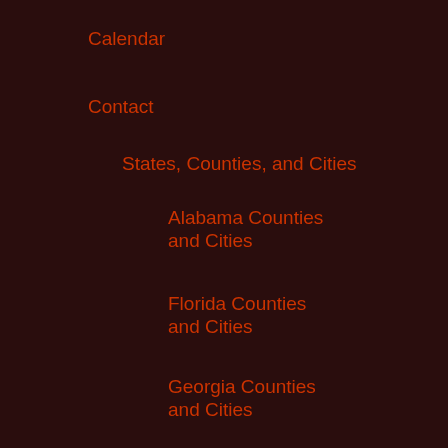Calendar
Contact
States, Counties, and Cities
Alabama Counties and Cities
Florida Counties and Cities
Georgia Counties and Cities
Dougherty County
Lowndes County, Georgia
Landowners in path of Sabal Trail Pipeline, Lowndes County, GA –VDT